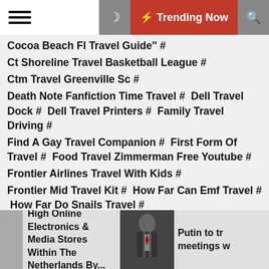Trending Now
Cocoa Beach Fl Travel Guide'' #
Ct Shoreline Travel Basketball League #
Ctm Travel Greenville Sc #
Death Note Fanfiction Time Travel # Dell Travel Dock # Dell Travel Printers # Family Travel Driving #
Find A Gay Travel Companion # First Form Of Travel # Food Travel Zimmerman Free Youtube #
Frontier Airlines Travel With Kids #
Frontier Mid Travel Kit # How Far Can Emf Travel # How Far Do Snails Travel #
Huge Travel Space Saver Bags #
Hulu Food Travel Show # Hwy 89 Travel #
Hybid Camper Travel Mugs #
Iguodala Travel Dance Gif # Illinois Map Wiki Travel # Infant Girl Graco Travel System #
Knitted Tissue Sweater Travel Size #
Lightweight Travel Scuba Gear #
High Online Electronics & Media Stores Within The Netherlands By...
Putin to tr meetings w